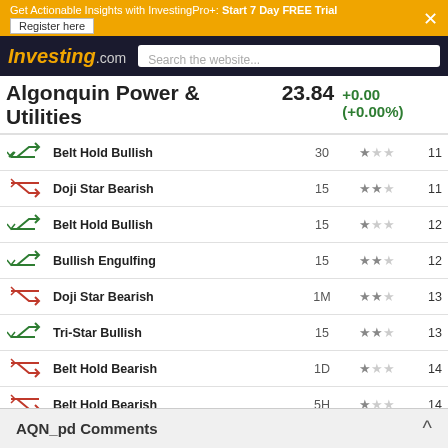Get Actionable Insights with InvestingPro+: Start 7 Day FREE Trial  Register here
[Figure (screenshot): Investing.com logo and search bar navigation]
Algonquin Power & Utilities  23.84  +0.00 (+0.00%)
| Icon | Pattern | Timeframe | Reliability | Bars Ago |
| --- | --- | --- | --- | --- |
| bullish | Belt Hold Bullish | 30 | ★☆☆ | 11 |
| bearish | Doji Star Bearish | 15 | ★★☆ | 11 |
| bullish | Belt Hold Bullish | 15 | ★☆☆ | 12 |
| bullish | Bullish Engulfing | 15 | ★★☆ | 12 |
| bearish | Doji Star Bearish | 1M | ★★☆ | 13 |
| bullish | Tri-Star Bullish | 15 | ★★☆ | 13 |
| bearish | Belt Hold Bearish | 1D | ★☆☆ | 14 |
| bearish | Belt Hold Bearish | 5H | ★☆☆ | 14 |
| bearish | Engulfing Bearish | 5H | ★★☆ | 14 |
| bearish | Harami Cross Bearish | 5H | ★☆☆ | 16 |
| bullish | Tri-Star Bullish | 15 | ★★☆ | 17 |
| bearish | Falling Three Methods | 1D | ★★★ | 19 |
| bullish | Tri-Star Bullish | 30 | ★★☆ | 19 |
| bearish | Belt Hold Bearish | ... | ... | ... |
AQN_pd Comments